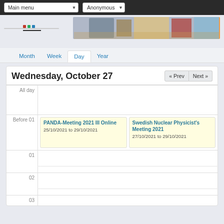Main menu  Anonymous
[Figure (screenshot): Website header with logo and banner image of printing/machinery equipment]
Month  Week  Day  Year
Wednesday, October 27
| Time | Event |
| --- | --- |
| All day |  |
| Before 01 | PANDA-Meeting 2021 III Online
25/10/2021 to 29/10/2021 | Swedish Nuclear Physicist's Meeting 2021
27/10/2021 to 29/10/2021 |
| 01 |  |
| 02 |  |
| 03 |  |